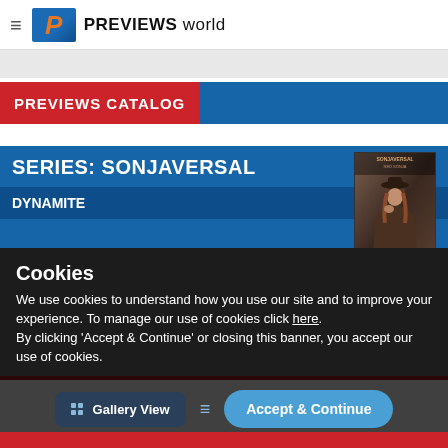PREVIEWS world
PREVIEWS CATALOG
SERIES: SONJAVERSAL
DYNAMITE
[Figure (illustration): Comic book cover for Sonjaversal showing a woman in a hat with dark/brown tones]
Cookies
We use cookies to understand how you use our site and to improve your experience. To manage our use of cookies click here.
By clicking 'Accept & Continue' or closing this banner, you accept our use of cookies.
Gallery View
Accept & Continue